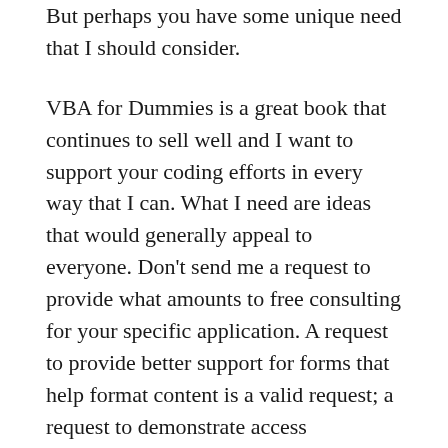But perhaps you have some unique need that I should consider.
VBA for Dummies is a great book that continues to sell well and I want to support your coding efforts in every way that I can. What I need are ideas that would generally appeal to everyone. Don't send me a request to provide what amounts to free consulting for your specific application. A request to provide better support for forms that help format content is a valid request; a request to demonstrate access connection techniques for your company's local intranet won't work at all. Contact me with your ideas for that next book at John@JohnMuellerBooks.com.